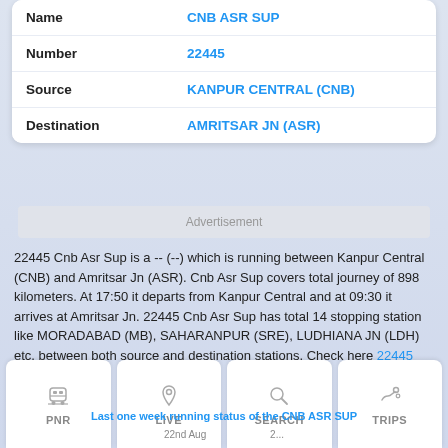| Name | CNB ASR SUP |
| --- | --- |
| Number | 22445 |
| Source | KANPUR CENTRAL (CNB) |
| Destination | AMRITSAR JN (ASR) |
Advertisement
22445 Cnb Asr Sup is a -- (--) which is running between Kanpur Central (CNB) and Amritsar Jn (ASR). Cnb Asr Sup covers total journey of 898 kilometers. At 17:50 it departs from Kanpur Central and at 09:30 it arrives at Amritsar Jn. 22445 Cnb Asr Sup has total 14 stopping station like MORADABAD (MB), SAHARANPUR (SRE), LUDHIANA JN (LDH) etc. between both source and destination stations. Check here 22445 Running status
Last one week running status of the CNB ASR SUP
PNR
LIVE
SEARCH
TRIPS